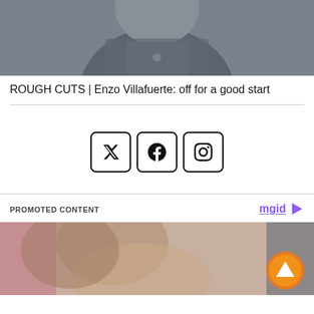[Figure (photo): Partial photo of a person wearing a dark blue/grey top, cropped at the shoulders and neck area]
ROUGH CUTS | Enzo Villafuerte: off for a good start
[Figure (other): Social media share buttons: Twitter/X, Facebook, and Instagram icons in square bordered boxes]
PROMOTED CONTENT
[Figure (photo): Promoted content photo showing people with curly hair, possibly a couple or group, partial view with orange upload/arrow button overlay]